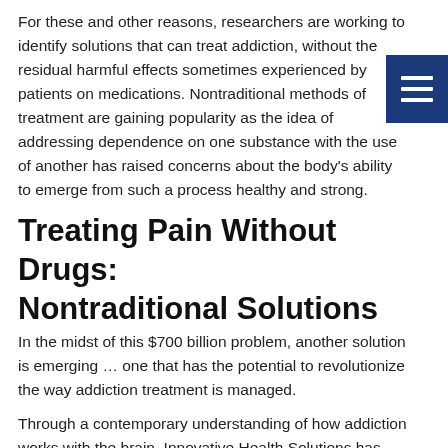For these and other reasons, researchers are working to identify solutions that can treat addiction, without the residual harmful effects sometimes experienced by patients on medications. Nontraditional methods of treatment are gaining popularity as the idea of addressing dependence on one substance with the use of another has raised concerns about the body's ability to emerge from such a process healthy and strong.
Treating Pain Without Drugs: Nontraditional Solutions
In the midst of this $700 billion problem, another solution is emerging … one that has the potential to revolutionize the way addiction treatment is managed.
Through a contemporary understanding of how addiction works with the brain, Innovative Health Solutions has come up with a non-